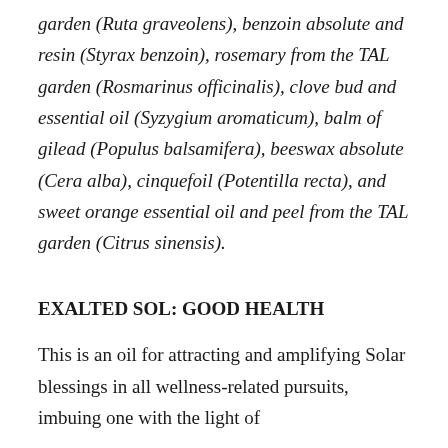garden (Ruta graveolens), benzoin absolute and resin (Styrax benzoin), rosemary from the TAL garden (Rosmarinus officinalis), clove bud and essential oil (Syzygium aromaticum), balm of gilead (Populus balsamifera), beeswax absolute (Cera alba), cinquefoil (Potentilla recta), and sweet orange essential oil and peel from the TAL garden (Citrus sinensis).
EXALTED SOL: GOOD HEALTH
This is an oil for attracting and amplifying Solar blessings in all wellness-related pursuits, imbuing one with the light of